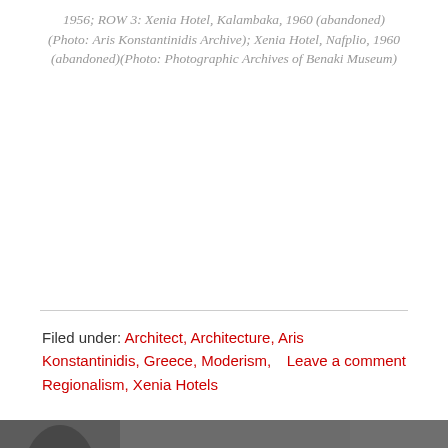1956; ROW 3: Xenia Hotel, Kalambaka, 1960 (abandoned) (Photo: Aris Konstantinidis Archive); Xenia Hotel, Nafplio, 1960 (abandoned)(Photo: Photographic Archives of Benaki Museum)
Filed under: Architect, Architecture, Aris Konstantinidis, Greece, Moderism, Regionalism, Xenia Hotels    Leave a comment
[Figure (photo): Black and white photograph showing the top of a person's head, close-cropped, with grey/white hair, on a dark grey background.]